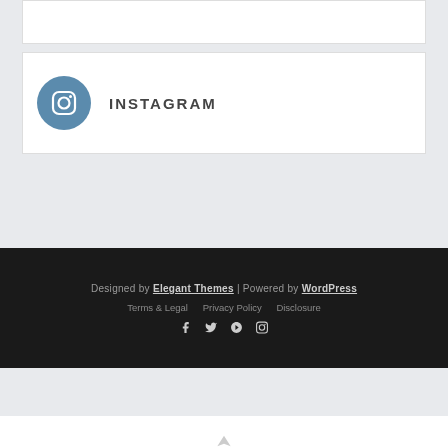[Figure (illustration): Instagram social media icon - blue-gray circle with camera icon and 'INSTAGRAM' label]
Designed by Elegant Themes | Powered by WordPress
Terms & Legal  Privacy Policy  Disclosure